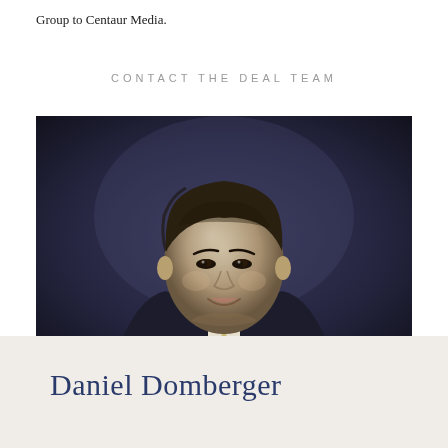Group to Centaur Media.
CONTACT THE DEAL TEAM
[Figure (photo): Black and white professional headshot portrait of Daniel Domberger, a man in a dark suit with a light tie, smiling, against a dark background.]
Daniel Domberger